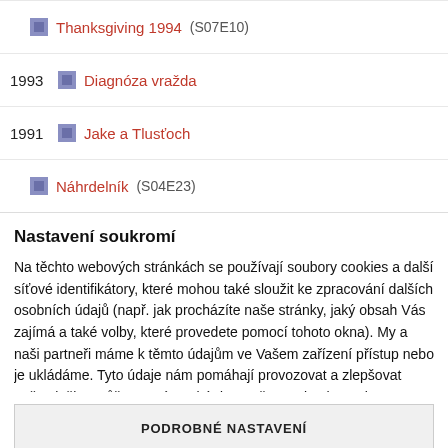Thanksgiving 1994 (S07E10)
1993  Diagnóza vražda
1991  Jake a Tlusťoch
Náhrdelník (S04E23)
Nastavení soukromí
Na těchto webových stránkách se používají soubory cookies a další síťové identifikátory, které mohou také sloužit ke zpracování dalších osobních údajů (např. jak procházíte naše stránky, jaký obsah Vás zajímá a také volby, které provedete pomocí tohoto okna). My a naši partneři máme k těmto údajům ve Vašem zařízení přístup nebo je ukládáme. Tyto údaje nám pomáhají provozovat a zlepšovat naše služby. Můžeme Vám také doporučovat obsah a zobrazovat reklamy na základě Vašich preferencí. Pro
PODROBNÉ NASTAVENÍ
ROZUMÍM A PŘIJÍMÁM